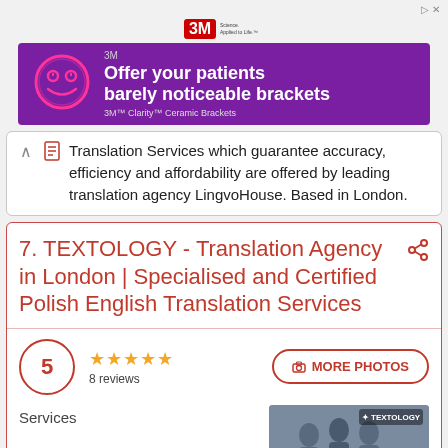[Figure (screenshot): 3M advertisement banner: 'Offer your patients barely noticeable brackets' with smiley face icon on purple background. 3M Clarity Ceramic Brackets.]
Translation Services which guarantee accuracy, efficiency and affordability are offered by leading translation agency LingvoHouse. Based in London.
7. TEXTOLOGY - Translation Agency in London | Specialised and Certified Polish English Translation Services
5  ★★★★★  8 reviews
MORE PHOTOS
Services